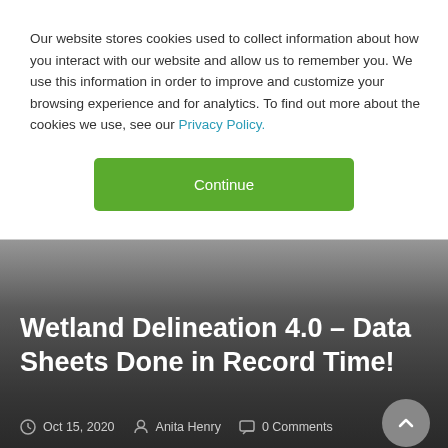Our website stores cookies used to collect information about how you interact with our website and allow us to remember you. We use this information in order to improve and customize your browsing experience and for analytics. To find out more about the cookies we use, see our Privacy Policy.
Continue
Wetland Delineation 4.0 – Data Sheets Done in Record Time!
Oct 15, 2020   Anita Henry   0 Comments